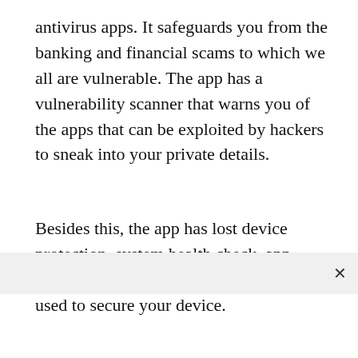antivirus apps. It safeguards you from the banking and financial scams to which we all are vulnerable. The app has a vulnerability scanner that warns you of the apps that can be exploited by hackers to sneak into your private details.
Besides this, the app has lost device protection, system health check, app manager, and app lock feature that can be used to secure your device.